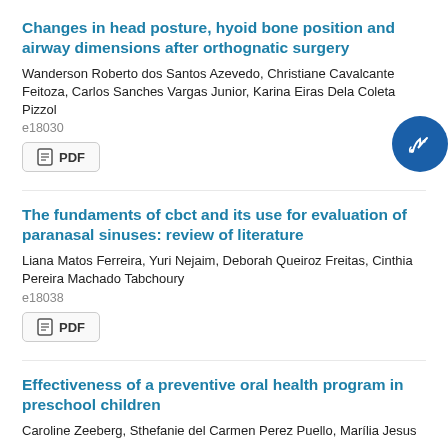Changes in head posture, hyoid bone position and airway dimensions after orthognatic surgery
Wanderson Roberto dos Santos Azevedo, Christiane Cavalcante Feitoza, Carlos Sanches Vargas Junior, Karina Eiras Dela Coleta Pizzol
e18030
PDF
The fundaments of cbct and its use for evaluation of paranasal sinuses: review of literature
Liana Matos Ferreira, Yuri Nejaim, Deborah Queiroz Freitas, Cinthia Pereira Machado Tabchoury
e18038
PDF
Effectiveness of a preventive oral health program in preschool children
Caroline Zeeberg, Sthefanie del Carmen Perez Puello, Marília Jesus